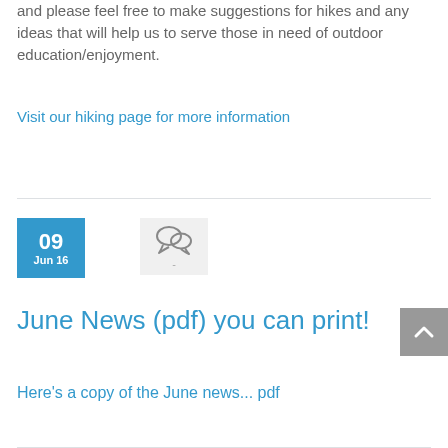and please feel free to make suggestions for hikes and any ideas that will help us to serve those in need of outdoor education/enjoyment.
Visit our hiking page for more information
[Figure (other): Date badge showing 09 Jun 16 in blue, and a comment/speech bubble icon in light grey box]
June News (pdf) you can print!
Here's a copy of the June news... pdf